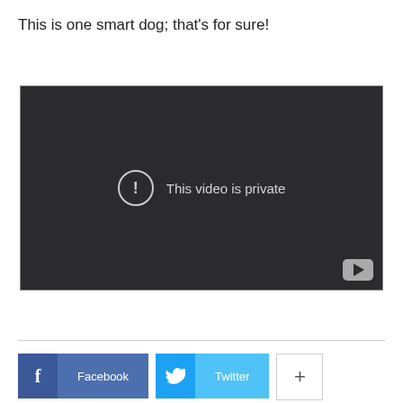This is one smart dog; that's for sure!
[Figure (screenshot): Embedded video player showing 'This video is private' error message with YouTube logo in the bottom right corner.]
[Figure (infographic): Social sharing buttons: Facebook (dark blue icon + medium blue label), Twitter (blue icon + light blue label), and a plus button.]